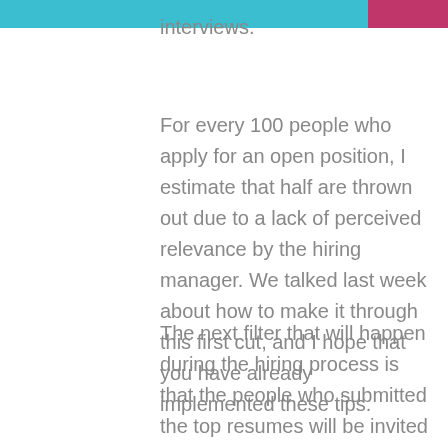interviews.
For every 100 people who apply for an open position, I estimate that half are thrown out due to a lack of perceived relevance by the hiring manager. We talked last week about how to make it through this first cut, and I hope that you have already implemented these tips.
The next filter that will happen during the hiring process is that the people who submitted the top resumes will be invited to conduct a 15-30 minute phone screen by the hiring manager